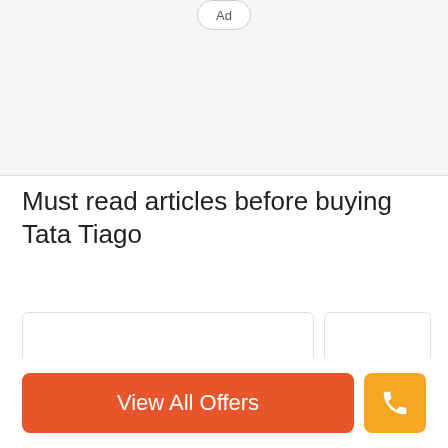[Figure (other): Ad badge label in a rounded rectangle, gray area background representing an advertisement placeholder]
Must read articles before buying Tata Tiago
[Figure (other): Two article card placeholders side by side, left card is wider, right card is narrower]
View All Offers